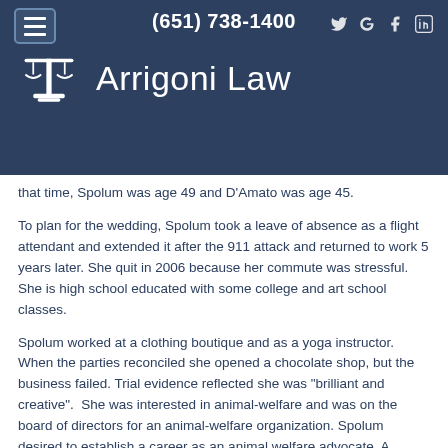(651) 738-1400
Arrigoni Law
that time, Spolum was age 49 and D'Amato was age 45.
To plan for the wedding, Spolum took a leave of absence as a flight attendant and extended it after the 911 attack and returned to work 5 years later. She quit in 2006 because her commute was stressful. She is high school educated with some college and art school classes.
Spolum worked at a clothing boutique and as a yoga instructor. When the parties reconciled she opened a chocolate shop, but the business failed. Trial evidence reflected she was "brilliant and creative".  She was interested in animal-welfare and was on the board of directors for an animal-welfare organization. Spolum desired to establish a career as an animal welfare advocate. A vocational rehabilitation evaluation was